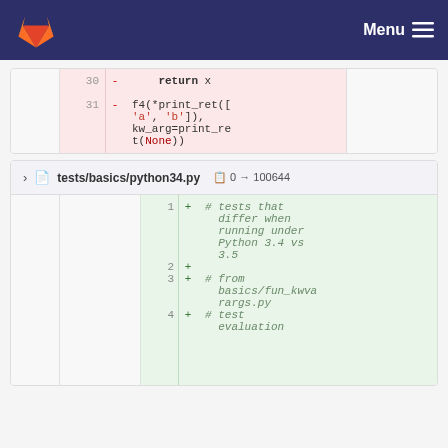Menu
[Figure (screenshot): Code diff view showing lines 30-31 with removed lines in red/pink background. Line 30: '- return x', Line 31: '- f4(*print_ret(["a", "b"]), kw_arg=print_ret(None))']
tests/basics/python34.py  0 → 100644
[Figure (screenshot): Code diff showing added lines 1-4 in green background. Line 1: '+ # tests that differ when running under Python 3.4 vs 3.5', Line 2: '+', Line 3: '+ # from basics/fun_kwvarargs.py', Line 4: '+ # test evaluation order of']